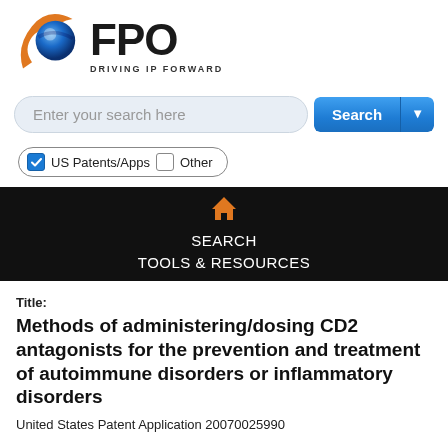[Figure (logo): FPO - Driving IP Forward logo with circular globe/flame icon and bold FPO text]
[Figure (screenshot): Search bar with placeholder text 'Enter your search here' and blue Search button with dropdown arrow]
[Figure (screenshot): Checkbox options: checked US Patents/Apps and unchecked Other, within a pill-shaped border]
[Figure (screenshot): Dark navigation bar with orange home icon, SEARCH and TOOLS & RESOURCES links]
Title:
Methods of administering/dosing CD2 antagonists for the prevention and treatment of autoimmune disorders or inflammatory disorders
United States Patent Application 20070025990